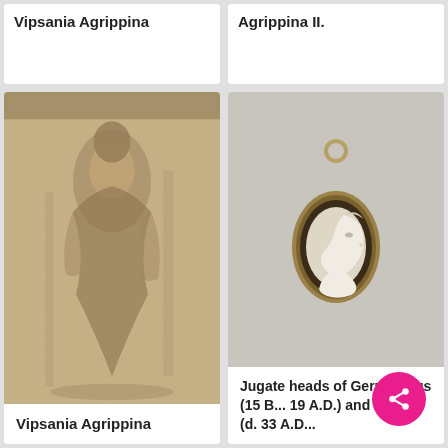Vipsania Agrippina
Agrippina II.
[Figure (photo): Sepia engraving of a seated woman in classical robes, Vipsania Agrippina]
Vipsania Agrippina
[Figure (photo): Oval cameo pendant on gray background showing a profile bust relief, with a ring at top for hanging]
Jugate heads of Germanicus (15 B... 19 A.D.) and Agrip... (d. 33 A.D...